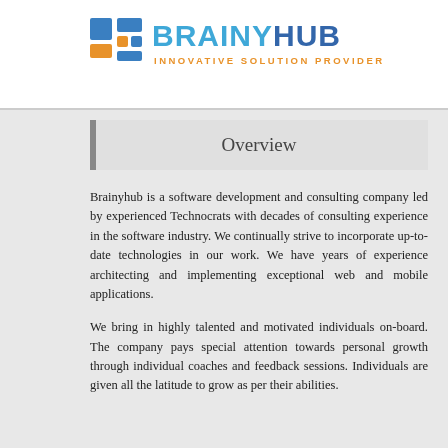[Figure (logo): BrainyHub logo with orange/blue icon and text: BRAINYHUB INNOVATIVE SOLUTION PROVIDER]
Overview
Brainyhub is a software development and consulting company led by experienced Technocrats with decades of consulting experience in the software industry. We continually strive to incorporate up-to-date technologies in our work. We have years of experience architecting and implementing exceptional web and mobile applications.
We bring in highly talented and motivated individuals on-board. The company pays special attention towards personal growth through individual coaches and feedback sessions. Individuals are given all the latitude to grow as per their abilities.